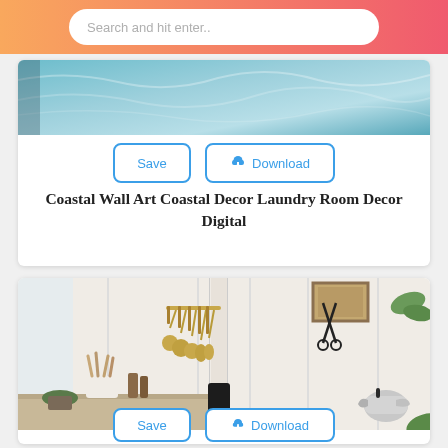Search and hit enter..
[Figure (photo): Coastal wall art decorative image with teal/aqua tones]
Save   Download
Coastal Wall Art Coastal Decor Laundry Room Decor Digital
[Figure (photo): Kitchen interior photo showing white paneled walls with hanging brass utensils, a black stove pipe, scissors on wall, wooden utensils in white container, glass bottles, and a silver kettle on counter]